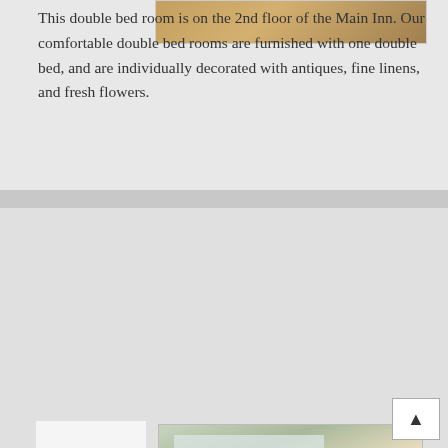[Figure (photo): Partial view of a bedroom photo at the top of the page]
This double bed room is on the 2nd floor of the Main Inn. Our comfortable double bed rooms are furnished with one double bed, and are individually decorated with antiques, fine linens, and fresh flowers.
$150
Corner double (Room 6)
[Figure (photo): Interior photo of a bedroom with windows with roman shades and red curtains, a round mirror, framed artwork, and a double bed with floral bedding]
This double bed room is